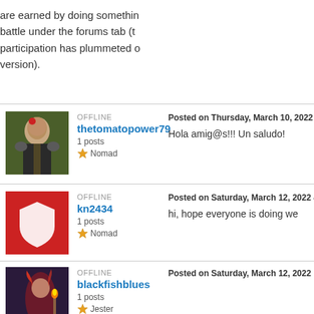are earned by doing something battle under the forums tab (t participation has plummeted version).
OFFLINE
thetomatopower79
1 posts
★ Nomad
Posted on Thursday, March 10, 2022 7:23
Hola amig@s!!! Un saludo!
OFFLINE
kn2434
1 posts
★ Nomad
Posted on Saturday, March 12, 2022 4:54
hi, hope everyone is doing we
OFFLINE
blackfishblues
1 posts
★ Jester
Posted on Saturday, March 12, 2022 10:10
Edited on Saturday, March 12, 2022 10:10
Is there a forum??? 😄
Hi everybody, I've been playin
EDIT I even got an achievem
OFFLINE
Posted on Saturday, March 12, 2022 12:2